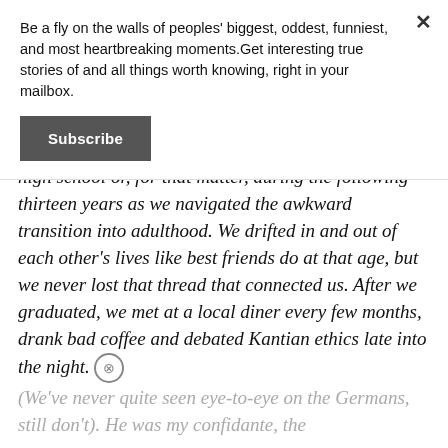Be a fly on the walls of peoples' biggest, oddest, funniest, and most heartbreaking moments.Get interesting true stories of and all things worth knowing, right in your mailbox.
Subscribe
high school or, for that matter, during the following thirteen years as we navigated the awkward transition into adulthood. We drifted in and out of each other's lives like best friends do at that age, but we never lost that thread that connected us. After we graduated, we met at a local diner every few months, drank bad coffee and debated Kantian ethics late into the night.
(We've never quite seen eye-to-eye on the Germans, still don't). He was my confidante, the